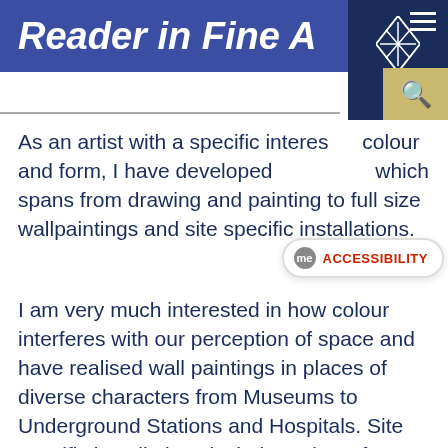Reader in Fine A
As an artist with a specific interest in colour and form, I have developed a practice which spans from drawing and painting to full size wallpaintings and site specific installations.
I am very much interested in how colour interferes with our perception of space and have realised wall paintings in places of diverse characters from Museums to Underground Stations and Hospitals. Site specific installations include projects for Piccadilly Underground Station, London,